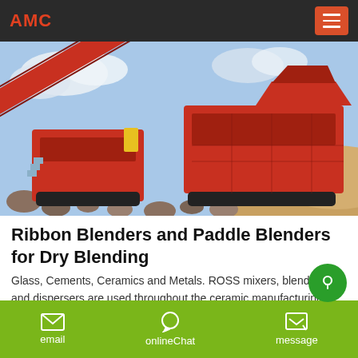AMC
[Figure (photo): Large red and black mobile crushing/screening industrial machinery on a construction or mining site with piles of rocks and earth in the background, blue sky with clouds.]
Ribbon Blenders and Paddle Blenders for Dry Blending
Glass, Cements, Ceramics and Metals. ROSS mixers, blenders and dispersers are used throughout the ceramic manufacturing industry. Applications include the simple blending of dry powders to the sophisticated dispersion of solids into high viscosity fluids.
email   onlineChat   message